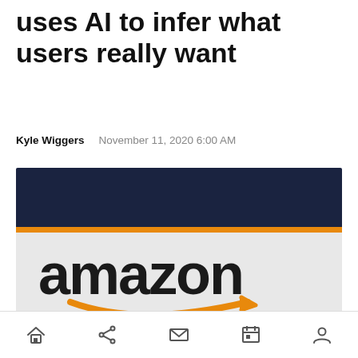uses AI to infer what users really want
Kyle Wiggers   November 11, 2020 6:00 AM
[Figure (photo): Amazon logo sign — dark navy background on top, light grey below with large black 'amazon' lettering and the orange arrow/smile logo beneath]
Home | Share | Email | Calendar | Profile